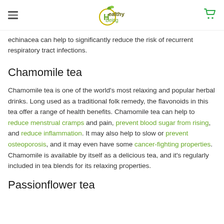Healthy Being
echinacea can help to significantly reduce the risk of recurrent respiratory tract infections.
Chamomile tea
Chamomile tea is one of the world's most relaxing and popular herbal drinks. Long used as a traditional folk remedy, the flavonoids in this tea offer a range of health benefits. Chamomile tea can help to reduce menstrual cramps and pain, prevent blood sugar from rising, and reduce inflammation. It may also help to slow or prevent osteoporosis, and it may even have some cancer-fighting properties. Chamomile is available by itself as a delicious tea, and it's regularly included in tea blends for its relaxing properties.
Passionflower tea